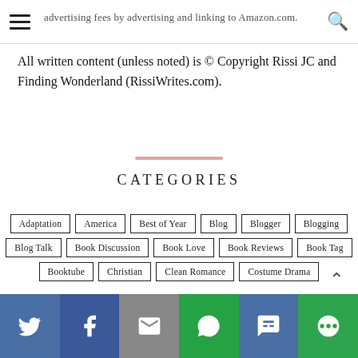advertising fees by advertising and linking to Amazon.com.
All written content (unless noted) is © Copyright Rissi JC and Finding Wonderland (RissiWrites.com).
CATEGORIES
Adaptation
America
Best of Year
Blog
Blogger
Blogging
Blog Talk
Book Discussion
Book Love
Book Reviews
Book Tag
Booktube
Christian
Clean Romance
Costume Drama
Share bar: Twitter, Facebook, Email, WhatsApp, SMS, More